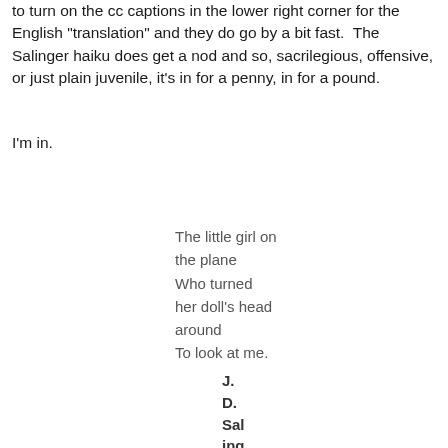to turn on the cc captions in the lower right corner for the English "translation" and they do go by a bit fast.  The Salinger haiku does get a nod and so, sacrilegious, offensive, or just plain juvenile, it's in for a penny, in for a pound.
I'm in.
The little girl on
the plane
Who turned
her doll’s head
around
To look at me.
J.
D.
Sal
ing
er